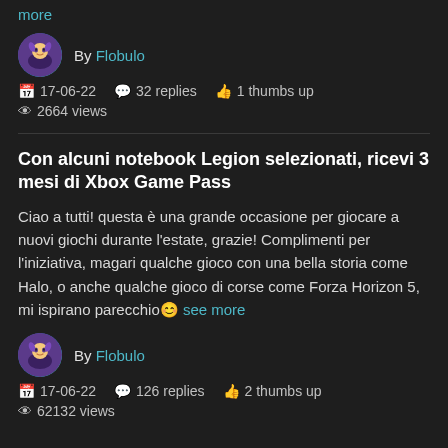more
By Flobulo
17-06-22  32 replies  1 thumbs up
2664 views
Con alcuni notebook Legion selezionati, ricevi 3 mesi di Xbox Game Pass
Ciao a tutti! questa è una grande occasione per giocare a nuovi giochi durante l'estate, grazie! Complimenti per l'iniziativa, magari qualche gioco con una bella storia come Halo, o anche qualche gioco di corse come Forza Horizon 5, mi ispirano parecchio😊 see more
By Flobulo
17-06-22  126 replies  2 thumbs up
62132 views